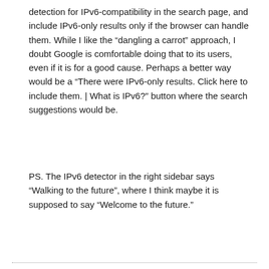detection for IPv6-compatibility in the search page, and include IPv6-only results only if the browser can handle them. While I like the “dangling a carrot” approach, I doubt Google is comfortable doing that to its users, even if it is for a good cause. Perhaps a better way would be a “There were IPv6-only results. Click here to include them. | What is IPv6?” button where the search suggestions would be.
PS. The IPv6 detector in the right sidebar says “Walking to the future”, where I think maybe it is supposed to say “Welcome to the future.”